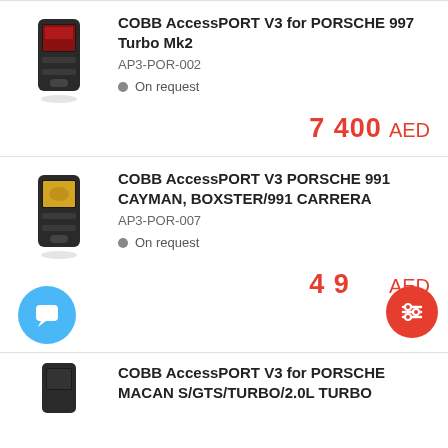[Figure (photo): COBB AccessPORT V3 device image for Porsche 997]
COBB AccessPORT V3 for PORSCHE 997 Turbo Mk2
AP3-POR-002
On request
7 400 AED
[Figure (photo): COBB AccessPORT V3 device image for Porsche 991]
COBB AccessPORT V3 PORSCHE 991 CAYMAN, BOXSTER/991 CARRERA
AP3-POR-007
On request
4 9__ AED
[Figure (photo): COBB AccessPORT V3 device image for Porsche Macan]
COBB AccessPORT V3 for PORSCHE MACAN S/GTS/TURBO/2.0L TURBO